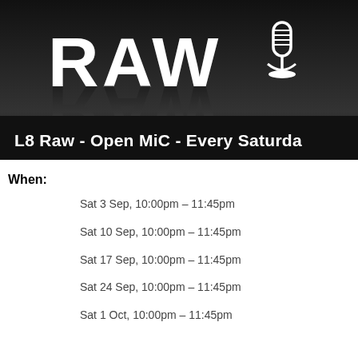[Figure (illustration): Black banner with large white bold letters 'RAW' and a microphone icon/silhouette on a dark gradient background. Text at bottom reads: 'L8 Raw - Open MiC - Every Saturday']
When:
Sat 3 Sep, 10:00pm – 11:45pm
Sat 10 Sep, 10:00pm – 11:45pm
Sat 17 Sep, 10:00pm – 11:45pm
Sat 24 Sep, 10:00pm – 11:45pm
Sat 1 Oct, 10:00pm – 11:45pm